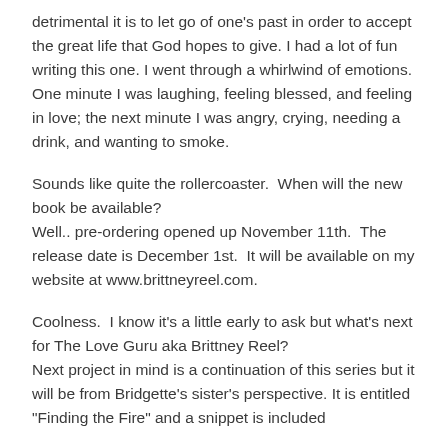detrimental it is to let go of one's past in order to accept the great life that God hopes to give. I had a lot of fun writing this one. I went through a whirlwind of emotions. One minute I was laughing, feeling blessed, and feeling in love; the next minute I was angry, crying, needing a drink, and wanting to smoke.
Sounds like quite the rollercoaster.  When will the new book be available?
Well.. pre-ordering opened up November 11th.  The release date is December 1st.  It will be available on my website at www.brittneyreel.com.
Coolness.  I know it's a little early to ask but what's next for The Love Guru aka Brittney Reel?
Next project in mind is a continuation of this series but it will be from Bridgette's sister's perspective. It is entitled "Finding the Fire" and a snippet is included